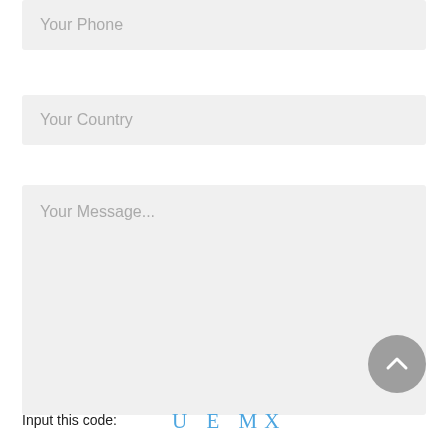Your Phone
Your Country
Your Message...
[Figure (other): Circular grey scroll-to-top button with upward chevron arrow]
Input this code:
U E MX